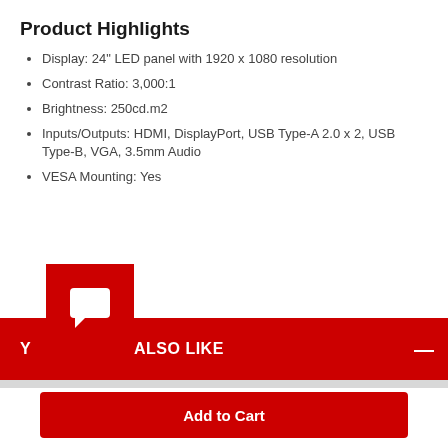Product Highlights
Display: 24" LED panel with 1920 x 1080 resolution
Contrast Ratio: 3,000:1
Brightness: 250cd.m2
Inputs/Outputs: HDMI, DisplayPort, USB Type-A 2.0 x 2, USB Type-B, VGA, 3.5mm Audio
VESA Mounting: Yes
[Figure (screenshot): Red chat icon button overlapping a red banner section]
YOU MAY ALSO LIKE